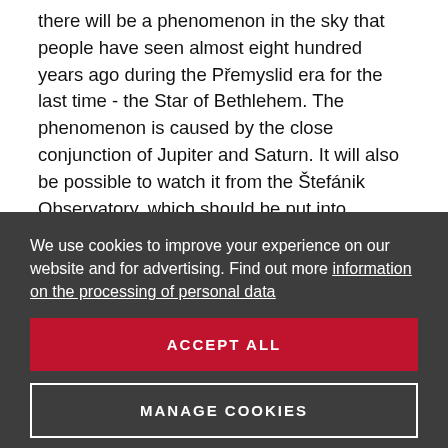there will be a phenomenon in the sky that people have seen almost eight hundred years ago during the Přemyslid era for the last time - the Star of Bethlehem. The phenomenon is caused by the close conjunction of Jupiter and Saturn. It will also be possible to watch it from the Štefánik Observatory, which should be put into operation for this very purpose.
The Holešovice DOX will open on Wednesday, December 16, with three new exhibitions.
We use cookies to improve your experience on our website and for advertising. Find out more information on the processing of personal data
ACCEPT ALL
MANAGE COOKIES